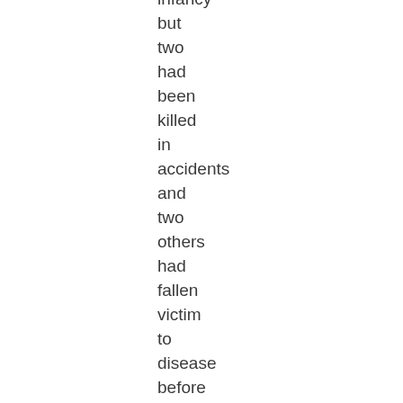infancy but two had been killed in accidents and two others had fallen victim to disease before either of their parents